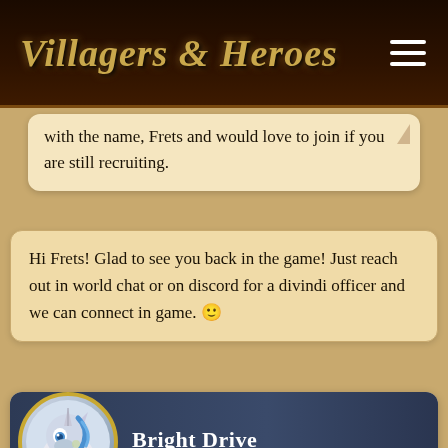Villagers & Heroes
with the name, Frets and would love to join if you are still recruiting.
Hi Frets! Glad to see you back in the game! Just reach out in world chat or on discord for a divindi officer and we can connect in game. 🙂
[Figure (illustration): User profile card showing Bright Drive avatar (blue unicorn), name Bright Drive, role VILLAGER, level 3 badge with US flag, Characters: Bright Drive, so..., Platform: PC]
Hello~. this seems to be a very nice guild. if y'all are still recruiting, can i join? i started playing a few